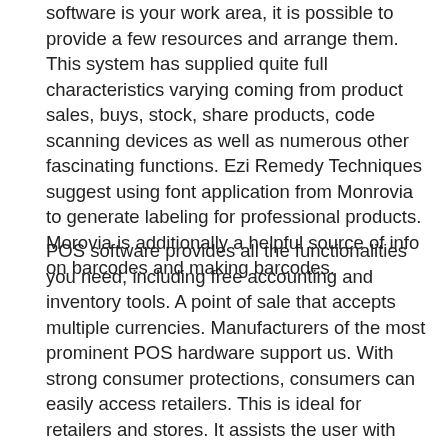software is your work area, it is possible to provide a few resources and arrange them. This system has supplied quite full characteristics varying coming from product sales, buys, stock, share products, code scanning devices as well as numerous other fascinating functions. Ezi Remedy Techniques suggest using font application from Monrovia to generate labeling for professional products. Morovia is additionally a helpful source of info on barcodes and making barcodes.
POS software provides all the functionalities you need, including free accounting and inventory tools. A point of sale that accepts multiple currencies. Manufacturers of the most prominent POS hardware support us. With strong consumer protections, consumers can easily access retailers. This is ideal for retailers and stores. It assists the user with stock management and accounting. This software includes barcode scanning, commission management, and loyalty programs, among other useful